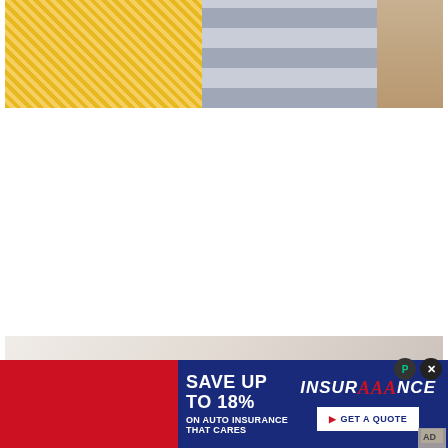[Figure (photo): Top portion of a photo showing colorful fabric/textiles: yellow striped fabric on the left and gray checkered/plaid fabric in the center-right, with a tan/wooden surface visible at far right edge]
[Figure (photo): Partial bottom photo showing a light-colored bed or bedding scene with soft neutral tones]
[Figure (infographic): AAA Insurance advertisement banner with dark blue and red background. Left side (red) contains text 'SAVE UP TO 18%' and 'ON AUTO INSURANCE THAT CARES'. Right side (dark blue) shows 'INSURANCE' with AAA logo in red italic, and a white 'GET A QUOTE' button with red arrow. Two circular button overlays: a green/black P button and a black X close button.]
SAVE UP TO 18%
ON AUTO INSURANCE THAT CARES
INSURANCE
GET A QUOTE